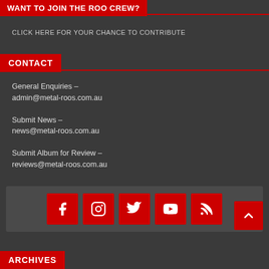WANT TO JOIN THE ROO CREW?
CLICK HERE FOR YOUR CHANCE TO CONTRIBUTE
CONTACT
General Enquiries – admin@metal-roos.com.au
Submit News – news@metal-roos.com.au
Submit Album for Review – reviews@metal-roos.com.au
[Figure (infographic): Social media icons row: Facebook, Instagram, Twitter, YouTube, RSS feed — all on red square backgrounds in a grey bar. A red scroll-to-top button with an upward chevron is in the bottom right.]
ARCHIVES